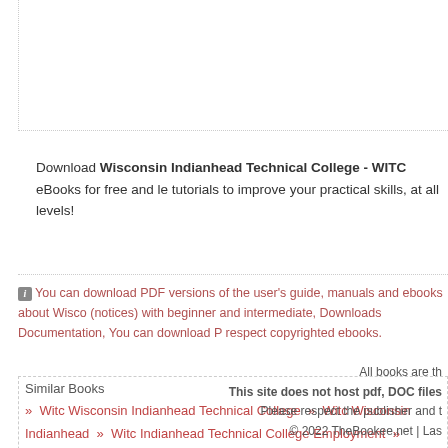Download Wisconsin Indianhead Technical College - WITC eBooks for free and learn tutorials to improve your practical skills, at all levels!
You can download PDF versions of the user's guide, manuals and ebooks about Wisconsin (notices) with beginner and intermediate, Downloads Documentation, You can download P respect copyrighted ebooks.
Similar Books
» Witc Wisconsin Indianhead Technical College
» Witc Wisconsin Indianhead
» Witc Indianhead Technical College Employment
» Wisconsin Indianhead Technical College Of Wisconsin Mychart
» Sdn Medical College Of Wisconsin
All books are th
This site does not host pdf, DOC files
Please respect the publisher and t
© 2022 TheBookee.net | Las